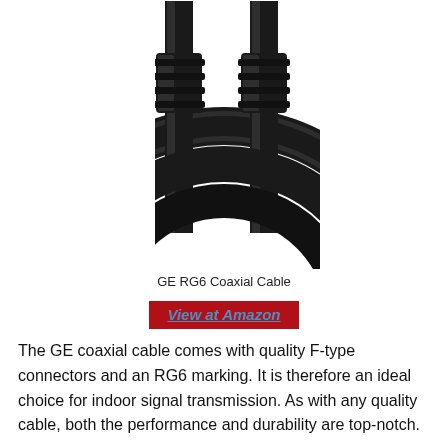[Figure (photo): Close-up photo of a black GE RG6 coaxial cable coiled, showing two F-type connectors at the top with ribbed metal ends, and the cable looping around below.]
GE RG6 Coaxial Cable
View at Amazon
The GE coaxial cable comes with quality F-type connectors and an RG6 marking. It is therefore an ideal choice for indoor signal transmission. As with any quality cable, both the performance and durability are top-notch.